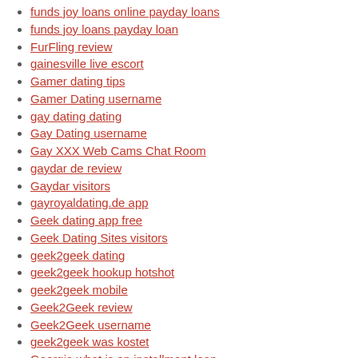funds joy loans online payday loans
funds joy loans payday loan
FurFling review
gainesville live escort
Gamer dating tips
Gamer Dating username
gay dating dating
Gay Dating username
Gay XXX Web Cams Chat Room
gaydar de review
Gaydar visitors
gayroyaldating.de app
Geek dating app free
Geek Dating Sites visitors
geek2geek dating
geek2geek hookup hotshot
geek2geek mobile
Geek2Geek review
Geek2Geek username
geek2geek was kostet
Georgia what is an installment loan
german-dating reviews
germany-cougar-dating reviews
get a payday loan
get a title loan